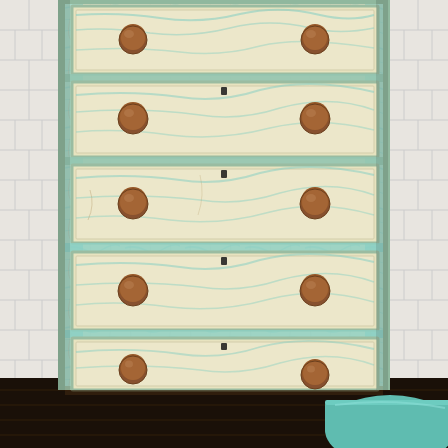[Figure (photo): A tall vintage chest of drawers with a distressed cream and mint/turquoise painted finish. The dresser has five drawers, each with two round dark brown wooden knobs. The paint shows heavy distressing revealing turquoise undertones and wood grain. A small keyhole slot is visible at the top center of each lower drawer. The dresser sits on a dark floor against a white brick wall. The bottom right corner shows the edge of a turquoise upholstered stool or ottoman.]